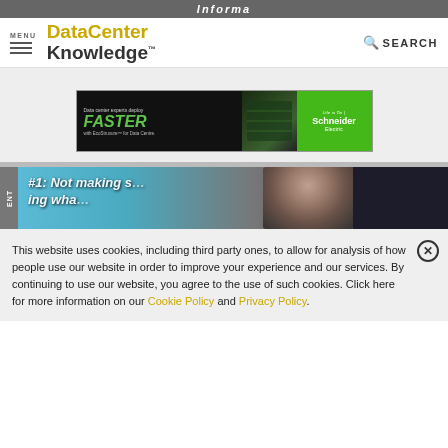Informa
[Figure (logo): DataCenter Knowledge logo with MENU hamburger and SEARCH on nav bar]
[Figure (photo): Schneider Electric EcoStruxure advertisement banner: Data center experts deploy FASTER with EcoStruxure for Data Centre]
[Figure (photo): Article preview image showing a speaker at a conference with text partially visible: #1: Not making s... ing wha...]
This website uses cookies, including third party ones, to allow for analysis of how people use our website in order to improve your experience and our services. By continuing to use our website, you agree to the use of such cookies. Click here for more information on our Cookie Policy and Privacy Policy.